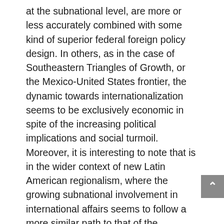at the subnational level, are more or less accurately combined with some kind of superior federal foreign policy design. In others, as in the case of Southeastern Triangles of Growth, or the Mexico-United States frontier, the dynamic towards internationalization seems to be exclusively economic in spite of the increasing political implications and social turmoil. Moreover, it is interesting to note that is in the wider context of new Latin American regionalism, where the growing subnational involvement in international affairs seems to follow a more similar path to that of the European Union and, more recently, East European regions. The results of our preliminary exploration does not preclude the existence of other forms of subnational participation in foreign policy process, more directly subordinated to central governments priorities and objectives, nor the increasing role of subnational governments in multilayered structures for